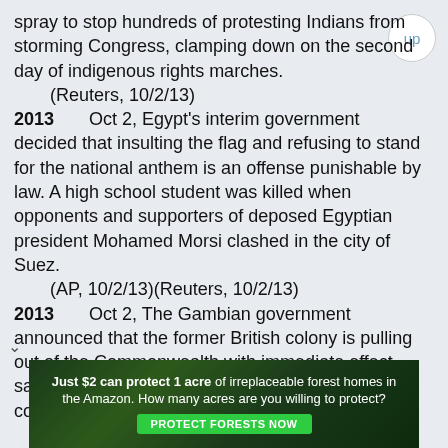spray to stop hundreds of protesting Indians from storming Congress, clamping down on the second day of indigenous rights marches.
(Reuters, 10/2/13)
2013      Oct 2, Egypt's interim government decided that insulting the flag and refusing to stand for the national anthem is an offense punishable by law. A high school student was killed when opponents and supporters of deposed Egyptian president Mohamed Morsi clashed in the city of Suez.
(AP, 10/2/13)(Reuters, 10/2/13)
2013      Oct 2, The Gambian government announced that the former British colony is pulling out of the Commonwealth with immediate effect, saying it would "never be a member of any neo-colonial institution."
(AFP, 10/3/13)
2013      Oct 2, Indonesia's anti-corruption commission (KPK) detained Akil Mochtar, the chief justice of the contitutional court, and seized almost $260,000 in cash. KPK said the money
[Figure (infographic): Advertisement banner: 'Just $2 can protect 1 acre of irreplaceable forest homes in the Amazon. How many acres are you willing to protect?' with a green PROTECT FORESTS NOW button, set against a dark forest background image.]